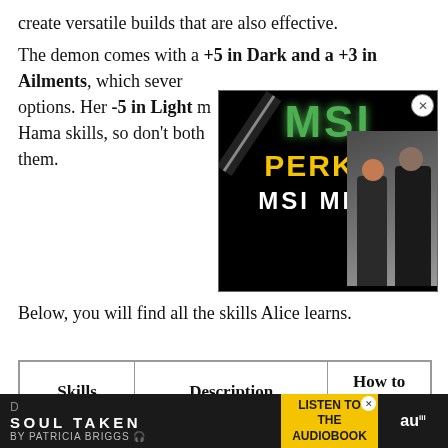create versatile builds that are also effective. The demon comes with a +5 in Dark and a +3 in Ailments, which several options. Her -5 in Light makes Hama skills, so don't both them.
[Figure (photo): MSI Perks advertisement overlay with MSI logo in green, PERKS text in yellow, MSI META text in white, with two people visible (a woman with red hair and a man in black jersey)]
Below, you will find all the skills Alice learns.
| Skills | Description | How to Learn |
| --- | --- | --- |
|  | (Unique) 2~5 medium Dark |  |
[Figure (infographic): Bottom advertisement banner for Soul Taken by Patricia Briggs audiobook, with dark background on left, yellow section in middle reading LISTEN TO THE AUDIOBOOK, and Audible logo on right]